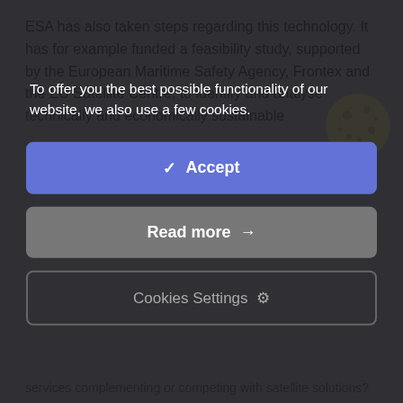ESA has also taken steps regarding this technology. It has for example funded a feasibility study, supported by the European Maritime Safety Agency, Frontex and the EU Satellite Centre, to identify and analyse technically and economically sustainable
To offer you the best possible functionality of our website, we also use a few cookies.
✔  Accept
Read more  →
Cookies Settings  ⚙
services complementing or competing with satellite solutions?